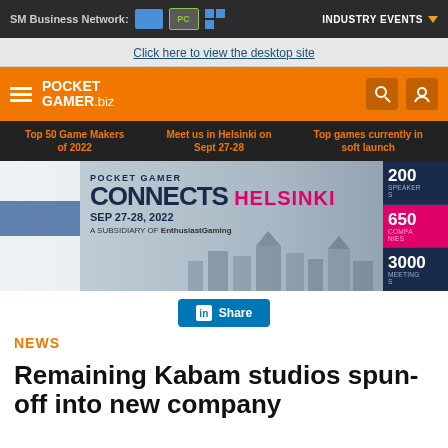SM Business Network: [logos] INDUSTRY EVENTS
Click here to view the desktop site
[Figure (logo): PocketGamer.biz orange navigation bar with hamburger menu, logo, search and profile icons]
Top 50 Game Makers of 2022 | Meet us in Helsinki on Sept 27-28 | Top games currently in soft launch
[Figure (infographic): Pocket Gamer Connects Helsinki banner - SEP 27-28, 2022 - A Subsidiary of EnthusiastGaming - 200 SPEAKERS, 650 COMPANIES, 3000 MEETINGS]
Share
NEWS
Remaining Kabam studios spun-off into new company